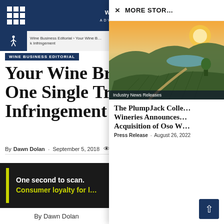WIN ADVISOR navigation bar
Wine Business Editorial › Your Wine B… k Infringement
WINE BUSINESS EDITORIAL
Your Wine Brand C… One Single Tradem… Infringement
By Dawn Dolan - September 5, 2018
Advertisem…
[Figure (screenshot): Advertisement banner: One second to scan. Consumer loyalty for… with yellow vertical bar accent on dark background]
[Figure (photo): Aerial vineyard photo with hills and sunset in background, labeled Industry News Releases]
The PlumpJack Colle… Wineries Announces… Acquisition of Oso W…
Press Release - August 26, 2022
MORE STOR…
By Dawn Dolan